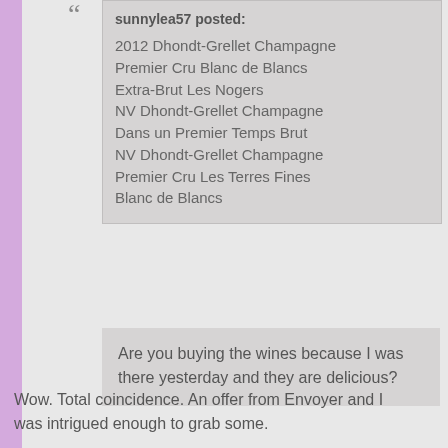sunnylea57 posted:
2012 Dhondt-Grellet Champagne Premier Cru Blanc de Blancs Extra-Brut Les Nogers
NV Dhondt-Grellet Champagne Dans un Premier Temps Brut
NV Dhondt-Grellet Champagne Premier Cru Les Terres Fines Blanc de Blancs
Are you buying the wines because I was there yesterday and they are delicious?
Wow. Total coincidence. An offer from Envoyer and I was intrigued enough to grab some.
Looking forward to hearing your opinion (besides